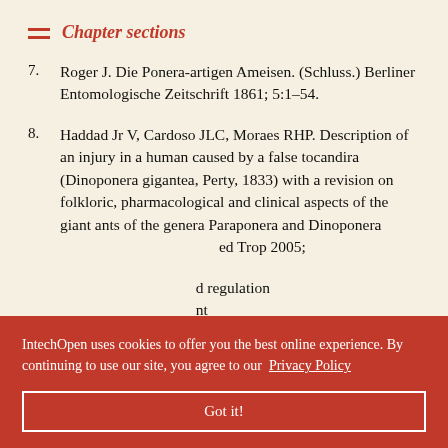Chapter sections
Roger J. Die Ponera-artigen Ameisen. (Schluss.) Berliner Entomologische Zeitschrift 1861; 5:1–54.
Haddad Jr V, Cardoso JLC, Moraes RHP. Description of an injury in a human caused by a false tocandira (Dinoponera gigantea, Perty, 1833) with a revision on folkloric, pharmacological and clinical aspects of the giant ants of the genera Paraponera and Dinoponera ed Trop 2005;
d regulation nt haviour 1998; 33(2):299-300.
IntechOpen uses cookies to offer you the best online experience. By continuing to use our site, you agree to our Privacy Policy
Got it!